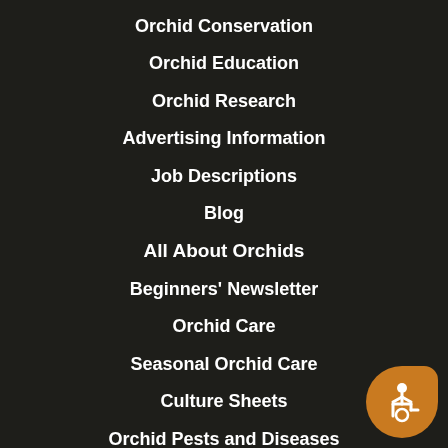Orchid Conservation
Orchid Education
Orchid Research
Advertising Information
Job Descriptions
Blog
All About Orchids
Beginners' Newsletter
Orchid Care
Seasonal Orchid Care
Culture Sheets
Orchid Pests and Diseases
AOS Video Library
Orchid Marketplace
Webinars